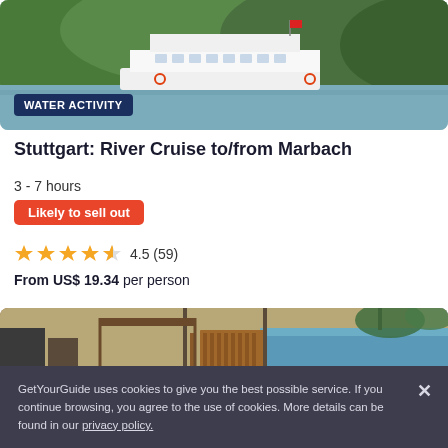[Figure (photo): River cruise boat on a river with green hillside background, badge reading WATER ACTIVITY]
Stuttgart: River Cruise to/from Marbach
3 - 7 hours
Likely to sell out
4.5 (59)
From US$ 19.34 per person
[Figure (photo): Waterfront dock area with wooden fence and lounge chairs by a river, badge reading WATER ACTIVITY]
GetYourGuide uses cookies to give you the best possible service. If you continue browsing, you agree to the use of cookies. More details can be found in our privacy policy.